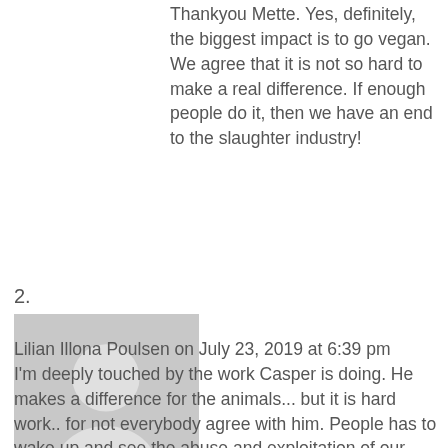Thankyou Mette. Yes, definitely, the biggest impact is to go vegan. We agree that it is not so hard to make a real difference. If enough people do it, then we have an end to the slaughter industry!
2.
[Figure (illustration): Generic grey avatar placeholder image showing silhouette of a person]
Lilian Illona Poulsen on July 23, 2019 at 6:39 pm
I'm deeply touched by the work Casper is doing. He makes a difference for the animals... but it is hard work.. for not everybody agree with him. People has to wake up and see the abuse and exploitation of our farm animals... and Casper has the passion and willpower to show how bad it looks right now. I'm deeply grateful for